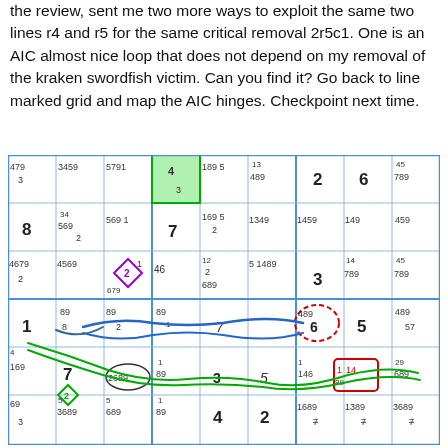the review, sent me two more ways to exploit the same two lines r4 and r5 for the same critical removal 2r5c1. One is an AIC almost nice loop that does not depend on my removal of the kraken swordfish victim. Can you find it? Go back to line marked grid and map the AIC hinges. Checkpoint next time.
[Figure (other): Sudoku puzzle grid with candidate numbers, colored annotations including blue and green AIC loops, red dashed circle, green diamond markers, and highlighted cells showing logic chains for solving.]